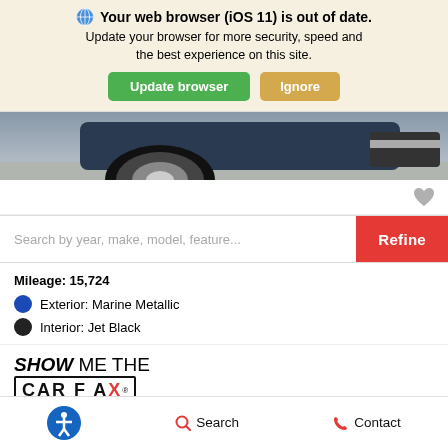Your web browser (iOS 11) is out of date. Update your browser for more security, speed and the best experience on this site. Update browser | Ignore
[Figure (photo): Partial view of a car wheel and bumper from the front-bottom angle, on a concrete surface]
Search by year, make, model, feature...
Mileage: 15,724
Exterior: Marine Metallic
Interior: Jet Black
[Figure (logo): Show Me The CARFAX logo]
Accessibility | Search | Contact